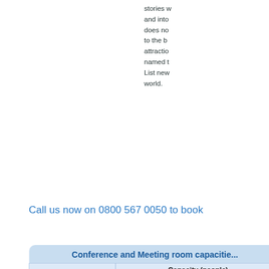stories w and into does no to the b attractio named t List new world.
Call us now on 0800 567 0050 to book
| Suite Name | Theatre | Classrm | Boardrm | Cabaret | Banqu... |
| --- | --- | --- | --- | --- | --- |
| Cabrillo Ballroom | 314 | 156 | - | - | 220 |
| Cabrillo Ballroom A and B (each) | 152 | 72 | - | - | 100 |
| Presidio Ballroom | 300 | 153 | - | - | 180 |
| Presidio Ballroom A | 36 | 80 | 36 | - | 40 |
| Presidio Ballroom B | 120 | 54 | - | - | 70 |